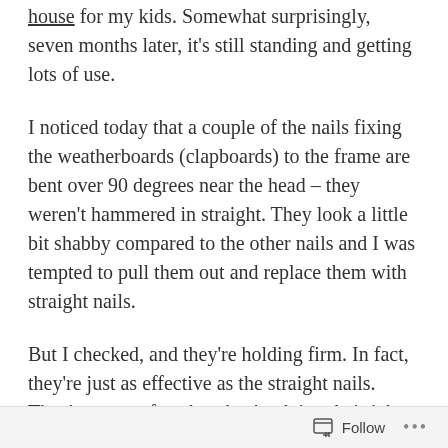house for my kids. Somewhat surprisingly, seven months later, it's still standing and getting lots of use.
I noticed today that a couple of the nails fixing the weatherboards (clapboards) to the frame are bent over 90 degrees near the head – they weren't hammered in straight. They look a little bit shabby compared to the other nails and I was tempted to pull them out and replace them with straight nails.
But I checked, and they're holding firm. In fact, they're just as effective as the straight nails. They're not perfect, but they're doing their job perfectly well.
When we hold ourselves to high standards in our work or home life, sometimes it can be difficult to
Follow ···